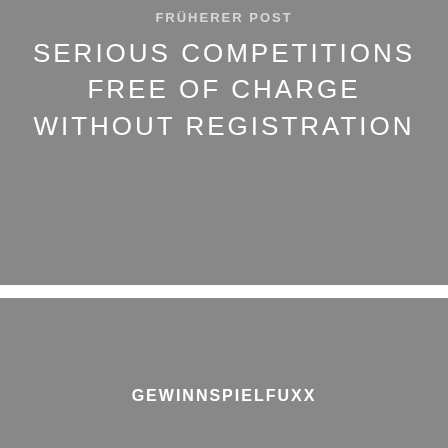FRÜHERER POST
SERIOUS COMPETITIONS FREE OF CHARGE WITHOUT REGISTRATION
GEWINNSPIELFUXX
NÄCHSTER POST
MONEY GAIN